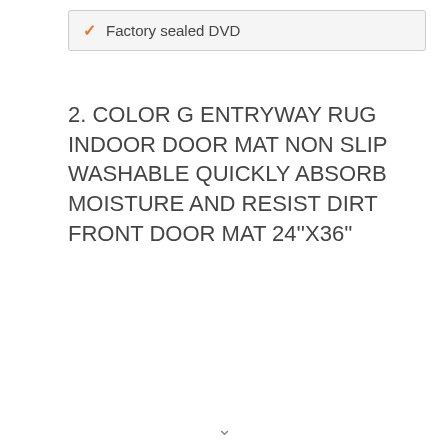Factory sealed DVD
2. COLOR G ENTRYWAY RUG INDOOR DOOR MAT NON SLIP WASHABLE QUICKLY ABSORB MOISTURE AND RESIST DIRT FRONT DOOR MAT 24"X36"